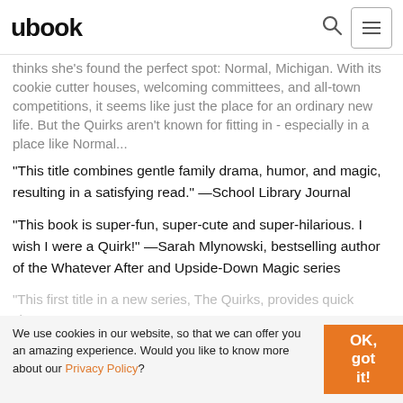ubook
thinks she's found the perfect spot: Normal, Michigan. With its cookie cutter houses, welcoming committees, and all-town competitions, it seems like just the place for an ordinary new life. But the Quirks aren't known for fitting in - especially in a place like Normal...
"This title combines gentle family drama, humor, and magic, resulting in a satisfying read." —School Library Journal
"This book is super-fun, super-cute and super-hilarious. I wish I were a Quirk!" —Sarah Mlynowski, bestselling author of the Whatever After and Upside-Down Magic series
"This first title in a new series, The Quirks, provides quick character
We use cookies in our website, so that we can offer you an amazing experience. Would you like to know more about our Privacy Policy?